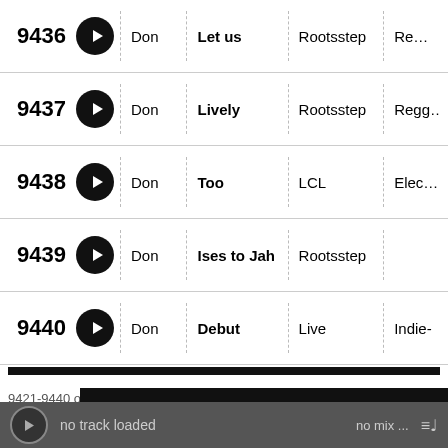| # |  | Artist | Title | Label | Genre |
| --- | --- | --- | --- | --- | --- |
| 9436 | ▶ | Don | Let us | Rootsstep | Re… |
| 9437 | ▶ | Don | Lively | Rootsstep | Regg… |
| 9438 | ▶ | Don | Too | LCL | Elec… |
| 9439 | ▶ | Don | Ises to Jah | Rootsstep |  |
| 9440 | ▶ | Don | Debut | Live | Indie- |
9421-9440 of 38554  20  « PREVIOUS / 1 / ... / 469 / 470 / 471 / 472 / 473 / 474 / 475 / ... / 1928 / NEXT »
[Figure (screenshot): EMA banner/logo in white bold italic text on black background]
no track loaded    no mix ...